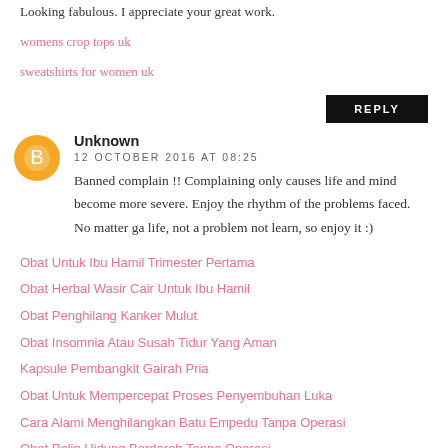Looking fabulous. I appreciate your great work.
womens crop tops uk
sweatshirts for women uk
REPLY
Unknown
12 OCTOBER 2016 AT 08:25
Banned complain !! Complaining only causes life and mind become more severe. Enjoy the rhythm of the problems faced. No matter ga life, not a problem not learn, so enjoy it :)
Obat Untuk Ibu Hamil Trimester Pertama
Obat Herbal Wasir Cair Untuk Ibu Hamil
Obat Penghilang Kanker Mulut
Obat Insomnia Atau Susah Tidur Yang Aman
Kapsule Pembangkit Gairah Pria
Obat Untuk Mempercepat Proses Penyembuhan Luka
Cara Alami Menghilangkan Batu Empedu Tanpa Operasi
Obat Polip Hidung Berdarah Tanpa Operasi